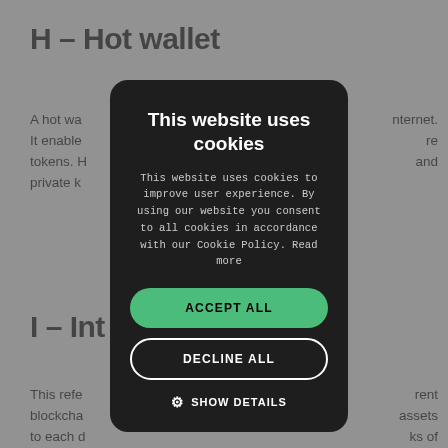H – Hot wallet
A hot wa… internet. It enable… re tokens. H… and private k…
I – Int…
This refe… rent blockcha… assets to each d… Interope… ks of web3 as it leads to inter-industry collaboration.
[Figure (screenshot): Cookie consent modal dialog with dark background, title 'This website uses cookies', body text explaining cookie usage, an 'ACCEPT ALL' green button, a 'DECLINE ALL' outlined button, and a 'SHOW DETAILS' option with gear icon.]